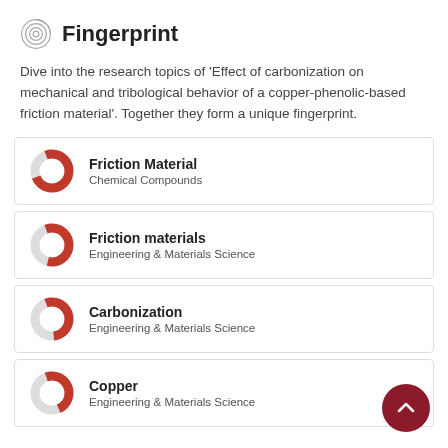Fingerprint
Dive into the research topics of 'Effect of carbonization on mechanical and tribological behavior of a copper-phenolic-based friction material'. Together they form a unique fingerprint.
Friction Material — Chemical Compounds
Friction materials — Engineering & Materials Science
Carbonization — Engineering & Materials Science
Copper — Engineering & Materials Science